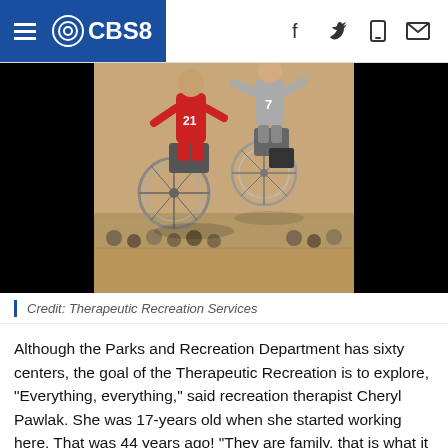CBS8
[Figure (photo): Two wheelchair basketball players competing on an indoor court. One player in a red jersey (number 21) and another in a gray jersey (number 7) are shown in motion during a game.]
Credit: Therapeutic Recreation Services
Although the Parks and Recreation Department has sixty centers, the goal of the Therapeutic Recreation is to explore, "Everything, everything," said recreation therapist Cheryl Pawlak. She was 17-years old when she started working here. That was 44 years ago! "They are family, that is what it is, they are family," said Cheryl.
"I want to talk especially talk about the pandemic," said